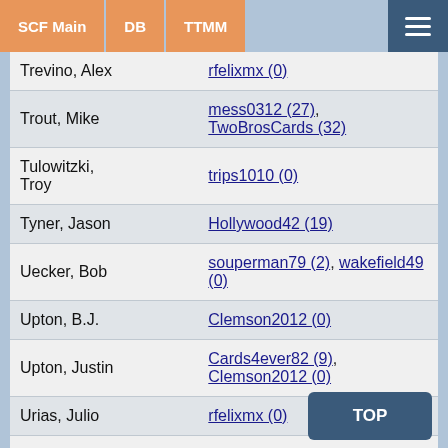SCF Main | DB | TTMM
| Player | Users |
| --- | --- |
| Trevino, Alex | rfelixmx (0) |
| Trout, Mike | mess0312 (27), TwoBrosCards (32) |
| Tulowitzki, Troy | trips1010 (0) |
| Tyner, Jason | Hollywood42 (19) |
| Uecker, Bob | souperman79 (2), wakefield49 (0) |
| Upton, B.J. | Clemson2012 (0) |
| Upton, Justin | Cards4ever82 (9), Clemson2012 (0) |
| Urias, Julio | rfelixmx (0) |
| Urias, Luis | rfelixmx (0) |
| Utley, Chase | Captawesome81 (0) |
| Valdez | rfelixmx (0) |